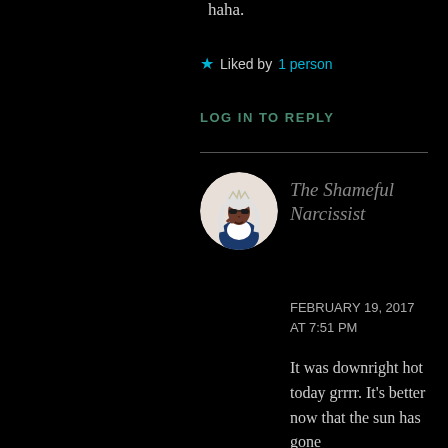haha.
Liked by 1 person
LOG IN TO REPLY
[Figure (illustration): Circular avatar of The Shameful Narcissist blog — cartoon illustration of a woman with white/silver hair wearing a blue and white outfit, on a light background, inside a circle.]
The Shameful Narcissist
FEBRUARY 19, 2017 AT 7:51 PM
It was downright hot today grrrr. It's better now that the sun has gone